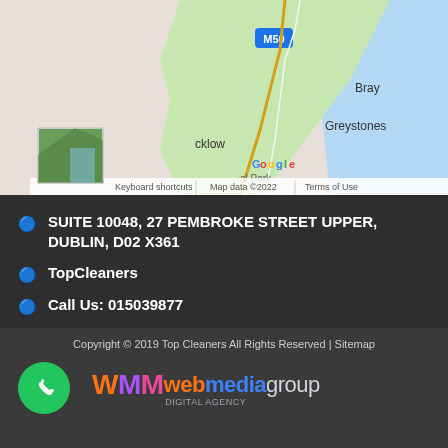[Figure (map): Google Maps screenshot showing coastal area near Dublin, Ireland, featuring Bray, Greystones, Wicklow areas with M50 motorway label, map attribution showing 'Keyboard shortcuts | Map data ©2022 | Terms of Use', with a small satellite thumbnail inset in lower left]
SUITE 10048, 27 PEMBROKE STREET UPPER, DUBLIN, D02 X361
TopCleaners
Call Us: 015039877
Copyright © 2019 Top Cleaners All Rights Reserved | Sitemap
[Figure (logo): WMM webmedia group logo with colorful lettering and phone call button (green circle with white phone icon)]